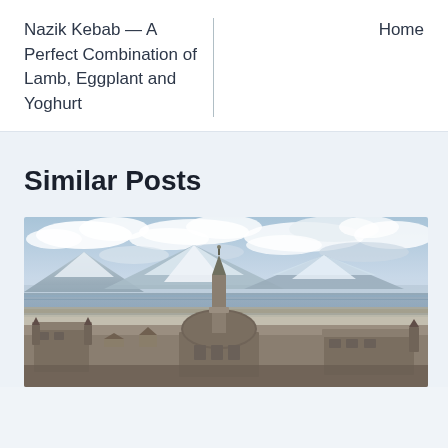Nazik Kebab — A Perfect Combination of Lamb, Eggplant and Yoghurt
Home
Similar Posts
[Figure (photo): Aerial/elevated view of a historic Ottoman-style mosque or palace complex with a minaret and dome roof, set against a backdrop of a large lake or flat plain and snow-capped mountains under a partly cloudy sky.]